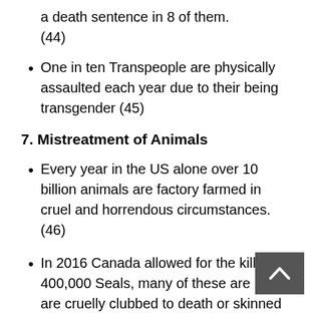a death sentence in 8 of them. (44)
One in ten Transpeople are physically assaulted each year due to their being transgender (45)
7. Mistreatment of Animals
Every year in the US alone over 10 billion animals are factory farmed in cruel and horrendous circumstances. (46)
In 2016 Canada allowed for the killing of 400,000 Seals, many of these are pups are cruelly clubbed to death or skinned alive.